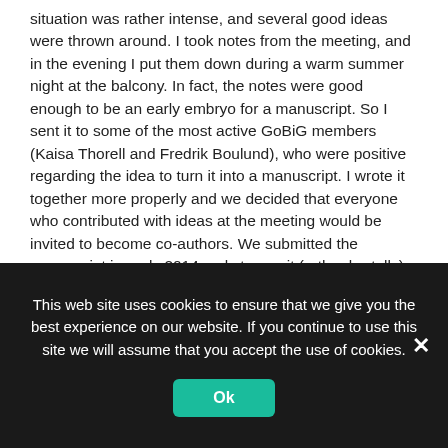situation was rather intense, and several good ideas were thrown around. I took notes from the meeting, and in the evening I put them down during a warm summer night at the balcony. In fact, the notes were good enough to be an early embryo for a manuscript. So I sent it to some of the most active GoBiG members (Kaisa Thorell and Fredrik Boulund), who were positive regarding the idea to turn it into a manuscript. I wrote it together more properly and we decided that everyone who contributed with ideas at the meeting would be invited to become co-authors. We submitted the manuscript in early 2014, only to see it (rather brutally) rejected. At that point most of us were sucked up in their own projects, so nothing happened to this manuscript for over a year. Then we decided to give it another go, updated the manuscript heavily and changed a few parts to better reflect
This web site uses cookies to ensure that we give you the best experience on our website. If you continue to use this site we will assume that you accept the use of cookies.